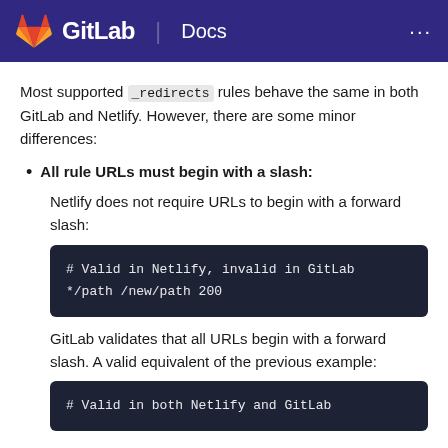GitLab Docs
Most supported _redirects rules behave the same in both GitLab and Netlify. However, there are some minor differences:
All rule URLs must begin with a slash:
Netlify does not require URLs to begin with a forward slash:
# Valid in Netlify, invalid in GitLab
*/path /new/path 200
GitLab validates that all URLs begin with a forward slash. A valid equivalent of the previous example:
# Valid in both Netlify and GitLab